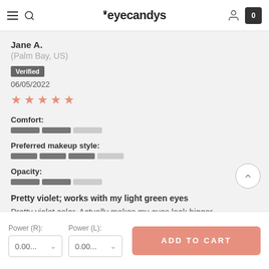eyecandys
Jane A.
(Palm Bay, US)
Verified
06/05/2022
[Figure (other): 5 salmon/pink star rating]
Comfort:
[Figure (other): Comfort rating bar: 2 dark segments filled, 1 light segment empty]
Preferred makeup style:
[Figure (other): Preferred makeup style rating bar: 3 dark segments filled, 1 light segment empty]
Opacity:
[Figure (other): Opacity rating bar: 2 dark segments filled, 1 light segment empty]
Pretty violet; works with my light green eyes
Pretty violet color. Actually makes my eyes look bigger. Pretty comfortable also.
Power (R):
Power (L):
ADD TO CART